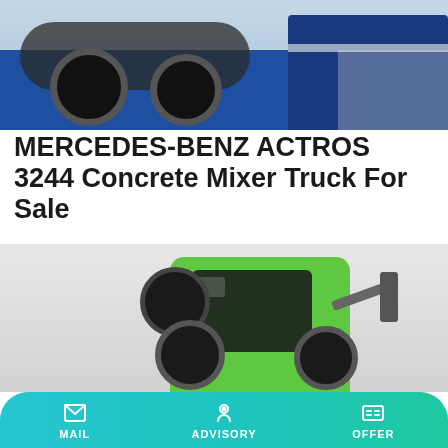[Figure (photo): Blue Mercedes-Benz Actros 3244 concrete mixer truck photographed from the front-left angle on a construction site with sand in the background]
MERCEDES-BENZ ACTROS 3244 Concrete Mixer Truck For Sale
MERCEDES-BENZ ACTROS 3244 concrete mixer truck sale advertisement from Finland. Mixer truck. Cement mixer truck. Price: €94,116. Year of manufacture: 2006. Mileage: 117315 km
[Figure (photo): Green construction machine (compact loader or similar) photographed on a light grey background, showing the cab with dark windows and wheels]
MAIL   ADVISORY   OFFER